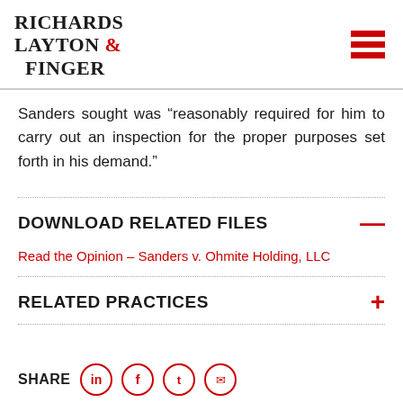Richards Layton & Finger
Sanders sought was “reasonably required for him to carry out an inspection for the proper purposes set forth in his demand.”
DOWNLOAD RELATED FILES
Read the Opinion – Sanders v. Ohmite Holding, LLC
RELATED PRACTICES
SHARE